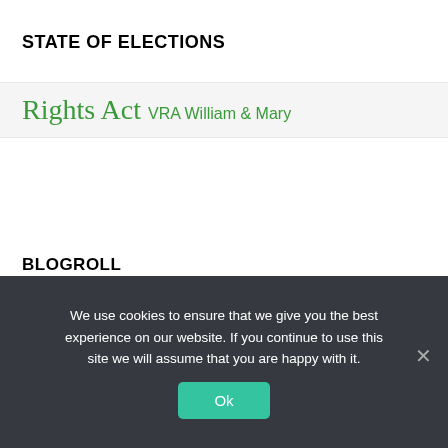STATE OF ELECTIONS
Rights Act VRA William & Mary
BLOGROLL
We use cookies to ensure that we give you the best experience on our website. If you continue to use this site we will assume that you are happy with it.